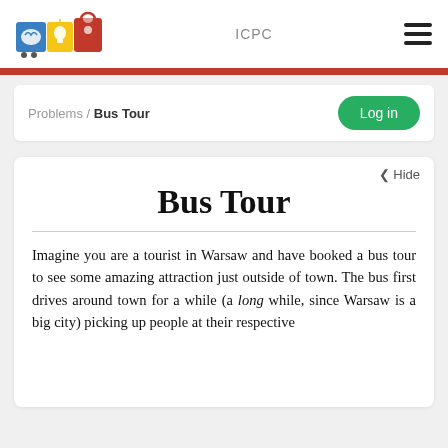ICPC
Problems / Bus Tour
Bus Tour
Imagine you are a tourist in Warsaw and have booked a bus tour to see some amazing attraction just outside of town. The bus first drives around town for a while (a long while, since Warsaw is a big city) picking up people at their respective